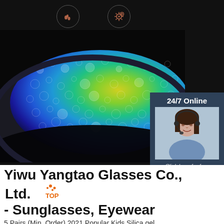[Figure (photo): Dark product image showing a close-up of a colorful sunglass lens with water droplets, rainbow-colored coating visible. Icons for 'Oil pollution prevention' and 'Dustproof soil' shown at top on dark background. A customer service sidebar shows '24/7 Online', an agent photo, 'Click here for free chat!', and an orange QUOTATION button.]
Yiwu Yangtao Glasses Co., Ltd. - Sunglasses, Eyewear
5 Pairs (Min. Order) 2021 Popular Kids Silica gel